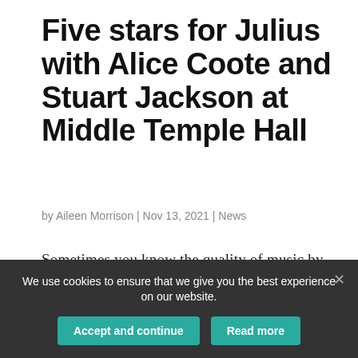Five stars for Julius with Alice Coote and Stuart Jackson at Middle Temple Hall
by Aileen Morrison | Nov 13, 2021 | News
Sometimes you know the quality of music by the depth of the silence when it ends. Last night at Middle Temple Hall – and thank Mahler's mystical heavens for it –
We use cookies to ensure that we give you the best experience on our website.
Accept and continue
Read more